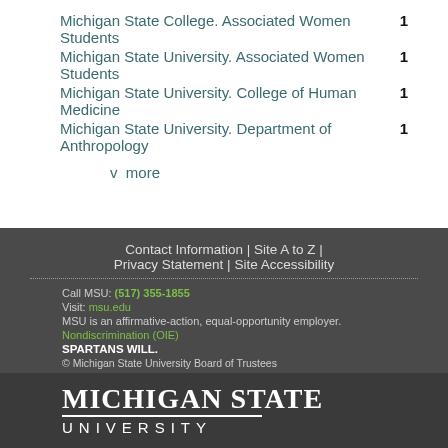Michigan State College. Associated Women Students  1
Michigan State University. Associated Women Students  1
Michigan State University. College of Human Medicine  1
Michigan State University. Department of Anthropology  1
v  more
Contact Information | Site A to Z | Privacy Statement | Site Accessibility
Call MSU: (517) 355-1855
Visit: msu.edu
MSU is an affirmative-action, equal-opportunity employer.
Nondiscrimination (OIE)
SPARTANS WILL.
© Michigan State University Board of Trustees
MICHIGAN STATE UNIVERSITY